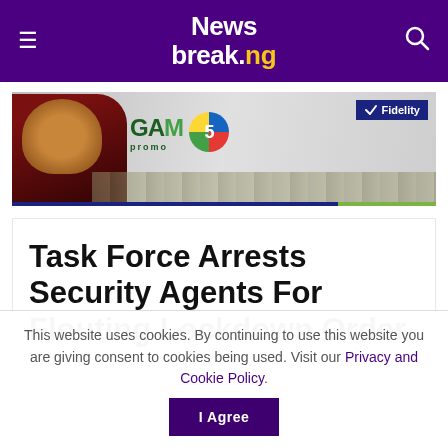Newsbreak.ng
[Figure (photo): Fidelity Bank GAM 5 Promo advertisement banner showing a man in African attire celebrating with money on a table]
Task Force Arrests Security Agents For Flouting Lockdown Order
This website uses cookies. By continuing to use this website you are giving consent to cookies being used. Visit our Privacy and Cookie Policy.   I Agree